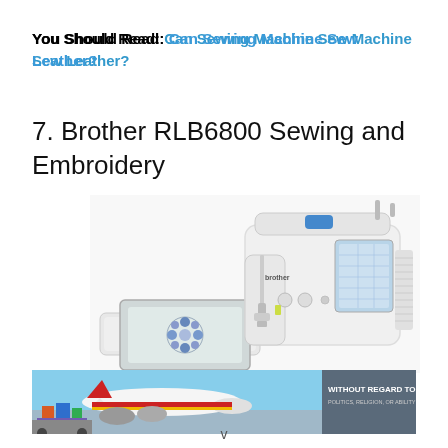You Should Read: Can Sewing Machine Sew Leather?
7. Brother RLB6800 Sewing and Embroidery
[Figure (photo): Brother RLB6800 sewing and embroidery machine in white, shown with embroidery hoop attachment containing a blue floral design. The machine has a large LCD screen on the right side and the Brother brand logo visible.]
[Figure (photo): Advertisement banner showing an airplane being loaded with cargo (colorful packages/containers). Text overlay reads 'WITHOUT REGARD TO POLITICS, RELIGION, OR ABILITY TO PAY'.]
v